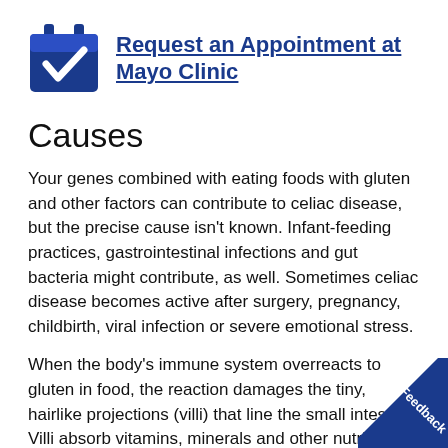[Figure (other): Blue calendar icon with white checkmark, linked to 'Request an Appointment at Mayo Clinic']
Request an Appointment at Mayo Clinic
Causes
Your genes combined with eating foods with gluten and other factors can contribute to celiac disease, but the precise cause isn't known. Infant-feeding practices, gastrointestinal infections and gut bacteria might contribute, as well. Sometimes celiac disease becomes active after surgery, pregnancy, childbirth, viral infection or severe emotional stress.
When the body's immune system overreacts to gluten in food, the reaction damages the tiny, hairlike projections (villi) that line the small intestine. Villi absorb vitamins, minerals and other nutrients from the food you eat. If your villi are damaged, you can't get enough nutrients, no matter how much you eat.